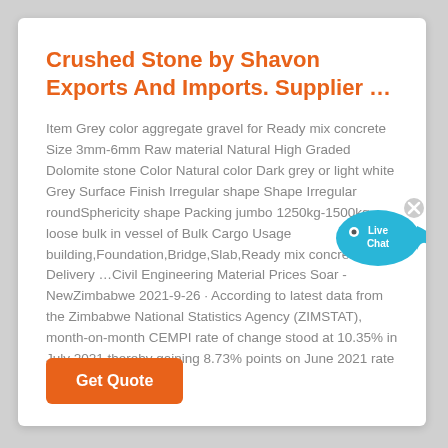Crushed Stone by Shavon Exports And Imports. Supplier …
Item Grey color aggregate gravel for Ready mix concrete Size 3mm-6mm Raw material Natural High Graded Dolomite stone Color Natural color Dark grey or light white Grey Surface Finish Irregular shape Shape Irregular roundSphericity shape Packing jumbo 1250kg-1500kg, loose bulk in vessel of Bulk Cargo Usage building,Foundation,Bridge,Slab,Ready mix concrete Delivery …Civil Engineering Material Prices Soar - NewZimbabwe 2021-9-26 · According to latest data from the Zimbabwe National Statistics Agency (ZIMSTAT), month-on-month CEMPI rate of change stood at 10.35% in July 2021 thereby gaining 8.73% points on June 2021 rate of ...
[Figure (other): Live Chat bubble widget with blue speech bubble and chat icon]
Get Quote